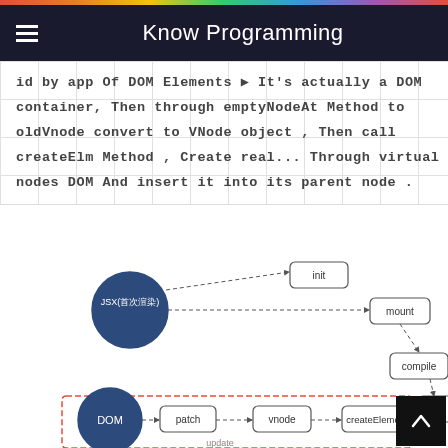Know Programming
id by app Of DOM Elements ▶ It's actually a DOM container, Then through emptyNodeAt Method to oldVnode convert to VNode object , Then call createElm Method , Create real... Through virtual nodes DOM And insert it into its parent node .
[Figure (flowchart): Flowchart showing Vue rendering pipeline: JSX(首次渲染) node connects to init and mount boxes, mount connects to compile box, compile connects to a 'r...' box (partially visible). A dashed red box contains DOM circle connecting to patch, vnode, createElement, and update nodes.]